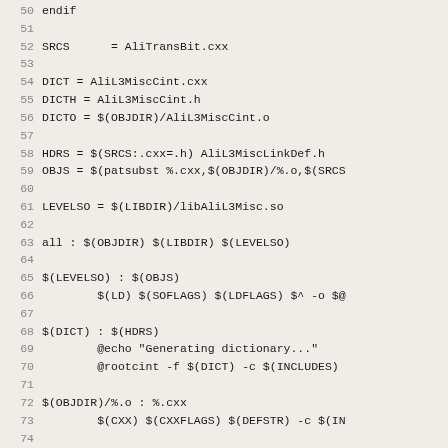[Figure (screenshot): Source code listing (Makefile) showing lines 50-82, with line numbers on the left and code content on the right, on a light beige background.]